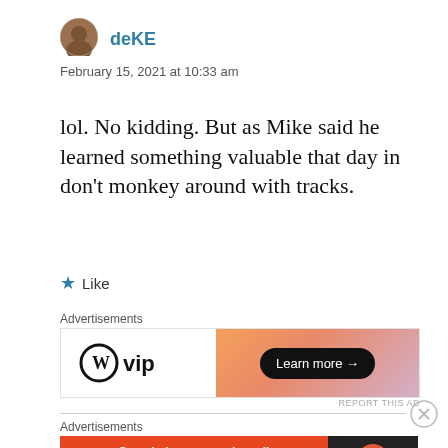[Figure (illustration): User avatar photo of deKE, circular crop showing a person's face]
deKE
February 15, 2021 at 10:33 am
lol. No kidding. But as Mike said he learned something valuable that day in don't monkey around with tracks.
★ Like
Advertisements
[Figure (infographic): WordPress VIP advertisement banner with WP logo on left and Learn more button on orange-pink gradient background on right]
REPORT THIS AD
Advertisements
[Figure (infographic): DuckDuckGo advertisement: Search, browse, and email with more privacy. All in One Free App. DuckDuckGo logo on dark background.]